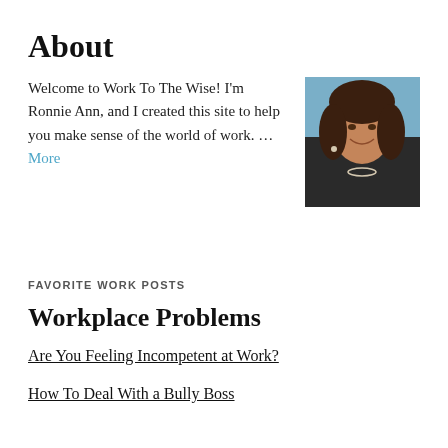About
Welcome to Work To The Wise! I'm Ronnie Ann, and I created this site to help you make sense of the world of work. … More
[Figure (photo): Portrait photo of Ronnie Ann, a woman with curly dark hair, smiling, wearing a dark jacket and pearl necklace, photographed outdoors with a blue background.]
FAVORITE WORK POSTS
Workplace Problems
Are You Feeling Incompetent at Work?
How To Deal With a Bully Boss